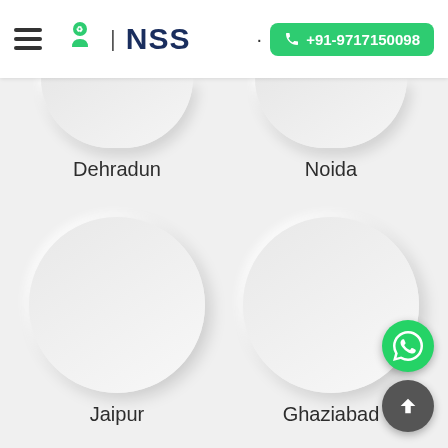NSS | +91-9717150098
[Figure (illustration): Partially visible city card circle for Dehradun (top cropped)]
Dehradun
[Figure (illustration): Partially visible city card circle for Noida (top cropped)]
Noida
[Figure (illustration): Full circle card for Jaipur]
Jaipur
[Figure (illustration): Full circle card for Ghaziabad]
Ghaziabad